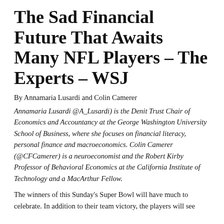The Sad Financial Future That Awaits Many NFL Players – The Experts – WSJ
By Annamaria Lusardi and Colin Camerer
Annamaria Lusardi @A_Lusardi) is the Denit Trust Chair of Economics and Accountancy at the George Washington University School of Business, where she focuses on financial literacy, personal finance and macroeconomics. Colin Camerer (@CFCamerer) is a neuroeconomist and the Robert Kirby Professor of Behavioral Economics at the California Institute of Technology and a MacArthur Fellow.
The winners of this Sunday's Super Bowl will have much to celebrate. In addition to their team victory, the players will see